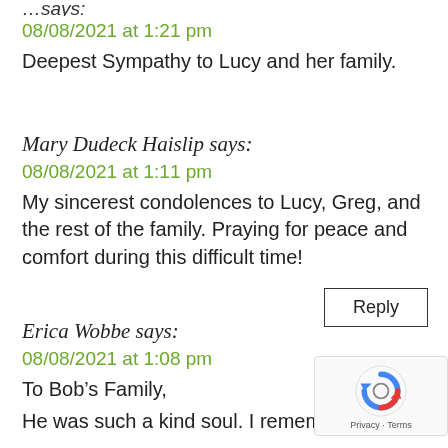08/08/2021 at 1:21 pm
Deepest Sympathy to Lucy and her family.
Reply
Mary Dudeck Haislip says:
08/08/2021 at 1:11 pm
My sincerest condolences to Lucy, Greg, and the rest of the family. Praying for peace and comfort during this difficult time!
Reply
Erica Wobbe says:
08/08/2021 at 1:08 pm
To Bob’s Family,
He was such a kind soul. I remember